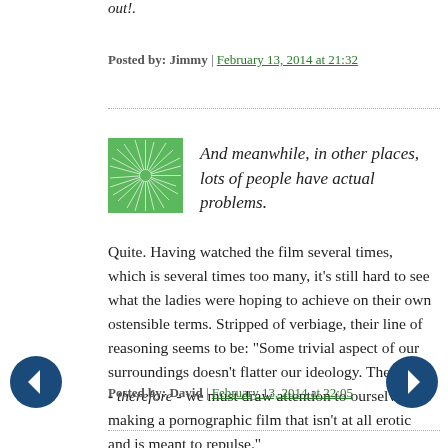out!.
Posted by: Jimmy | February 13, 2014 at 21:32
[Figure (illustration): Green spiral avatar icon]
And meanwhile, in other places, lots of people have actual problems.
Quite. Having watched the film several times, which is several times too many, it's still hard to see what the ladies were hoping to achieve on their own ostensible terms. Stripped of verbiage, their line of reasoning seems to be: “Some trivial aspect of our surroundings doesn’t flatter our ideology. Therefore - therefore - we must draw attention to ourselves by making a pornographic film that isn’t at all erotic and is meant to repulse.”

I mean, it sounds a little unhinged.
Posted by: David | February 13, 2014 at 22:05